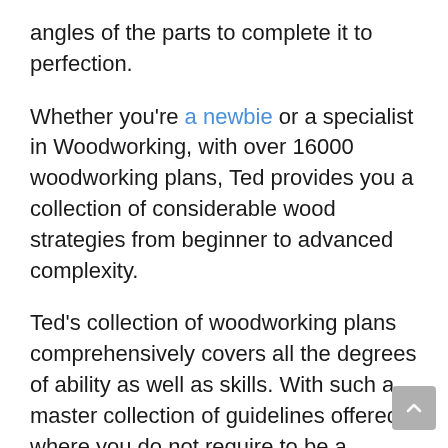angles of the parts to complete it to perfection.
Whether you're a newbie or a specialist in Woodworking, with over 16000 woodworking plans, Ted provides you a collection of considerable wood strategies from beginner to advanced complexity.
Ted's collection of woodworking plans comprehensively covers all the degrees of ability as well as skills. With such a master collection of guidelines offered, where you do not require to be a master woodworker or very own expensive machinery to take advantage of the strategies.